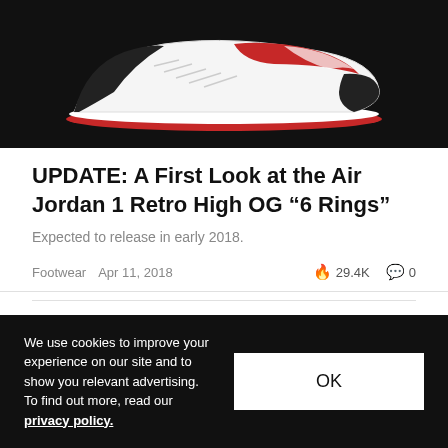[Figure (photo): Partial view of an Air Jordan 1 Retro High OG sneaker against a black background, showing the white, black, and red colorway from a side angle.]
UPDATE: A First Look at the Air Jordan 1 Retro High OG “6 Rings”
Expected to release in early 2018.
Footwear   Apr 11, 2018   29.4K   0
We use cookies to improve your experience on our site and to show you relevant advertising. To find out more, read our privacy policy.